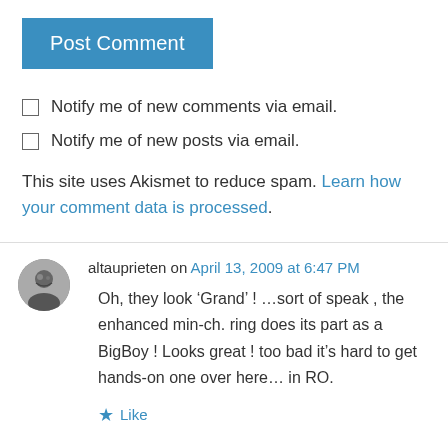Post Comment
Notify me of new comments via email.
Notify me of new posts via email.
This site uses Akismet to reduce spam. Learn how your comment data is processed.
altauprieten on April 13, 2009 at 6:47 PM
Oh, they look ‘Grand’ ! …sort of speak , the enhanced min-ch. ring does its part as a BigBoy ! Looks great ! too bad it’s hard to get hands-on one over here… in RO.
Like